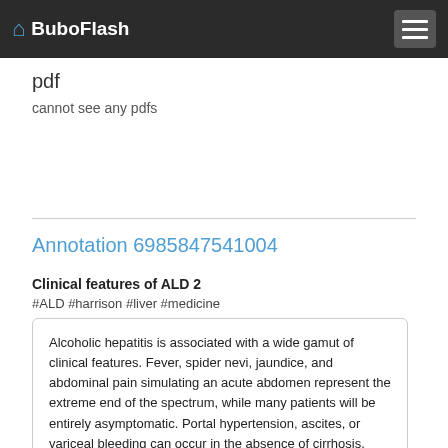BuboFlash
pdf
cannot see any pdfs
Annotation 6985847541004
Clinical features of ALD 2
#ALD #harrison #liver #medicine
Alcoholic hepatitis is associated with a wide gamut of clinical features. Fever, spider nevi, jaundice, and abdominal pain simulating an acute abdomen represent the extreme end of the spectrum, while many patients will be entirely asymptomatic. Portal hypertension, ascites, or variceal bleeding can occur in the absence of cirrhosis. Recogni- tion of the clinical features of alcoholic hepatitis is central to the initiation of an effective and appropriate